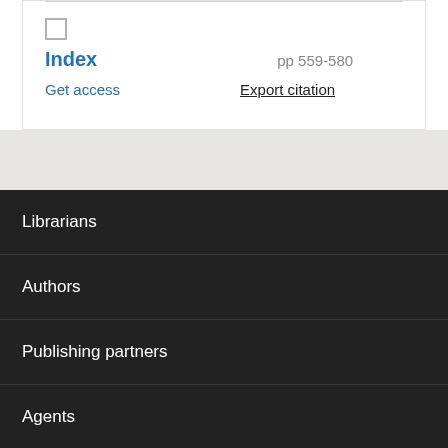Index
pp 559-580
Get access
Export citation
Librarians
Authors
Publishing partners
Agents
Corporates